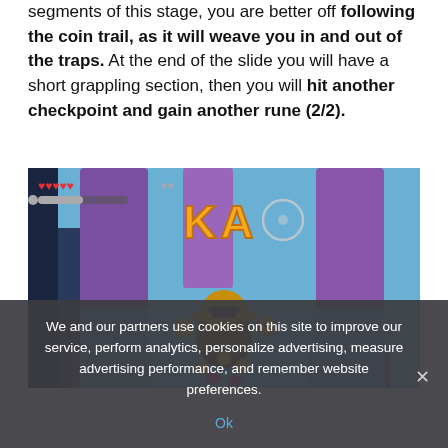segments of this stage, you are better off following the coin trail, as it will weave you in and out of the traps. At the end of the slide you will have a short grappling section, then you will hit another checkpoint and gain another rune (2/2).
[Figure (screenshot): In-game screenshot of a colorful 3D platformer showing a character surrounded by coins in a purple/pink corridor environment with HUD elements showing hearts and a progress bar, and large orange letters 'KA' in the center]
We and our partners use cookies on this site to improve our service, perform analytics, personalize advertising, measure advertising performance, and remember website preferences.
Ok